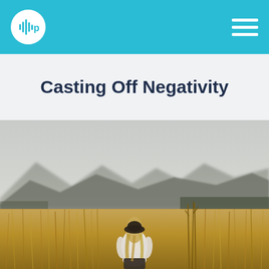Navigation bar with podcast logo and hamburger menu
Casting Off Negativity
[Figure (photo): A woman with long blonde hair wearing a black hat and white blouse stands with her back to the camera in a golden wheat field, with misty mountains in the background]